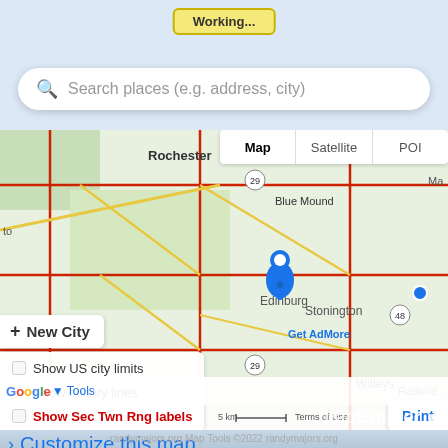[Figure (screenshot): Working button with yellow background at top of page]
Search places (e.g. address, city)
[Figure (map): Google Maps view showing Rochester, Bolivia, Edinburg, Stonington, Willeys, Radford, Blue Mound areas with a blue location pin marker, map/satellite/POI tabs, + New City button, checkboxes for Show US city limits, Show county lines, Show Sec Twn Rng labels, Print button, Get Admore link, Google Tools bar, Keyboard shortcuts, Map data 2022, 5km scale]
Customize this map
mapBuilder
randymajors.org Map Tools ©2022 randymajors.org